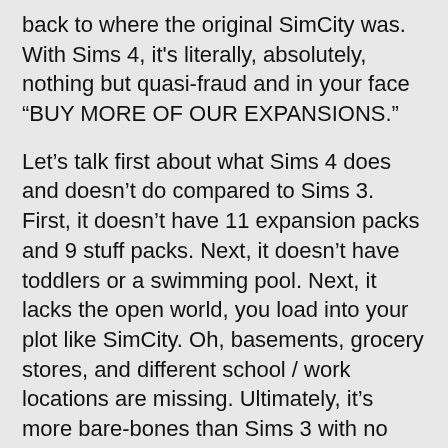back to where the original SimCity was. With Sims 4, it's literally, absolutely, nothing but quasi-fraud and in your face “BUY MORE OF OUR EXPANSIONS.”
Let’s talk first about what Sims 4 does and doesn’t do compared to Sims 3. First, it doesn’t have 11 expansion packs and 9 stuff packs. Next, it doesn’t have toddlers or a swimming pool. Next, it lacks the open world, you load into your plot like SimCity. Oh, basements, grocery stores, and different school / work locations are missing. Ultimately, it’s more bare-bones than Sims 3 with no expansions.
Yet, of course, Internet reviewers are all like this is the best most impressive awesome game ever. The new emotion system is amazing! Sure, for the 3 people who play the game for anything but a dollhouse simulator. Ugh, it’s just so annoying.
Why do people think that we gamers are somehow